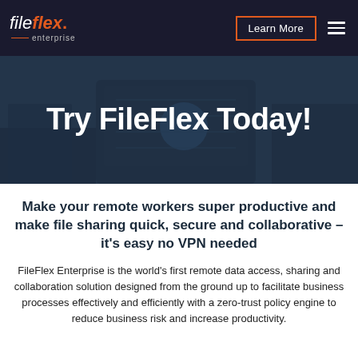[Figure (screenshot): FileFlex Enterprise navigation bar with logo, Learn More button with orange border, and hamburger menu on dark background]
[Figure (photo): Dark overlay hero image showing hands with tablet and laptop, background office/technology scene]
Try FileFlex Today!
Make your remote workers super productive and make file sharing quick, secure and collaborative – it's easy no VPN needed
FileFlex Enterprise is the world's first remote data access, sharing and collaboration solution designed from the ground up to facilitate business processes effectively and efficiently with a zero-trust policy engine to reduce business risk and increase productivity.